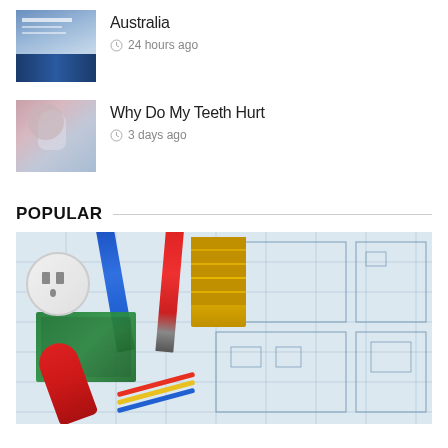[Figure (photo): Thumbnail of a document/report cover with blue design]
Australia
24 hours ago
[Figure (photo): Woman holding phone to cheek looking pained]
Why Do My Teeth Hurt
3 days ago
POPULAR
[Figure (photo): Electrical tools (screwdrivers, pliers, wire connectors) on architectural blueprint/floor plan]